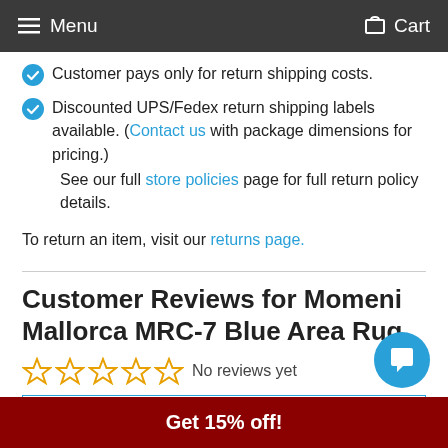Menu  Cart
Customer pays only for return shipping costs.
Discounted UPS/Fedex return shipping labels available. (Contact us with package dimensions for pricing.)
See our full store policies page for full return policy details.
To return an item, visit our returns page.
Customer Reviews for Momeni Mallorca MRC-7 Blue Area Rug
No reviews yet
Write a review
Get 15% off!